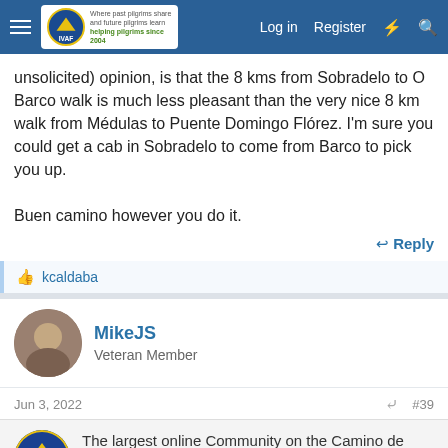Forum navigation bar with hamburger menu, IVAF logo, Log in, Register links
unsolicited) opinion, is that the 8 kms from Sobradelo to O Barco walk is much less pleasant than the very nice 8 km walk from Médulas to Puente Domingo Flórez. I'm sure you could get a cab in Sobradelo to come from Barco to pick you up.

Buen camino however you do it.
Reply
kcaldaba
MikeJS
Veteran Member
Jun 3, 2022
#39
The largest online Community on the Camino de Santiago. Helping pilgrims travel to Santiago de Compostela. Register (free) or Log in to join.